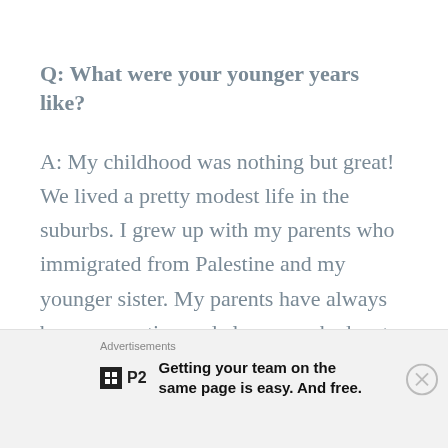Q: What were your younger years like?
A: My childhood was nothing but great! We lived a pretty modest life in the suburbs. I grew up with my parents who immigrated from Palestine and my younger sister. My parents have always been supportive and always pushed us to be our best. Growing
Advertisements
[Figure (logo): P2 logo — black square with grid icon and P2 text]
Getting your team on the same page is easy. And free.